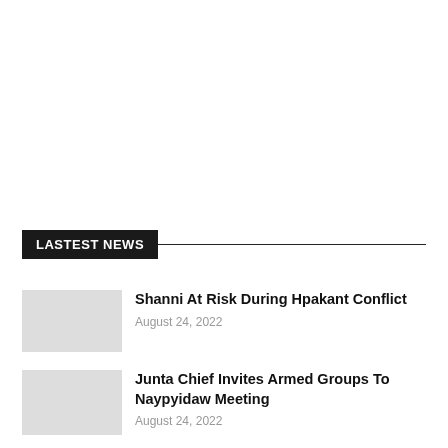LASTEST NEWS
Shanni At Risk During Hpakant Conflict
August 24, 2022
Junta Chief Invites Armed Groups To Naypyidaw Meeting
August 24, 2022